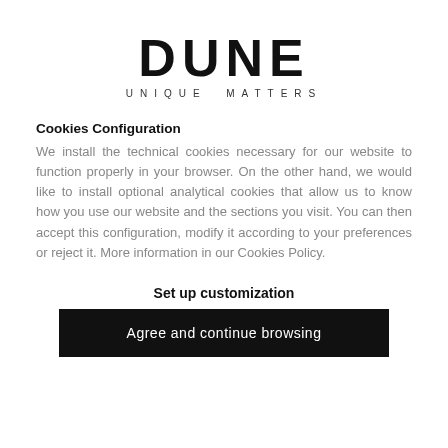[Figure (logo): DUNE logo with tagline UNIQUE MATTERS]
Cookies Configuration
We install the technical cookies necessary for our website to function properly in your browser. On the other hand, we would like to install optional analytical cookies that allow us to know how you use our website and the sections you visit. You can then accept this configuration, modify it according to your preferences or reject it. More information in our Cookies Policy.
Set up customization
Agree and continue browsing